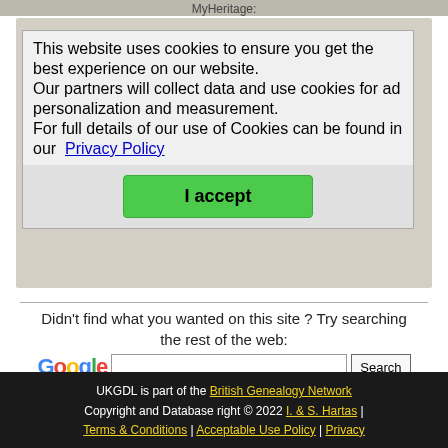[Figure (screenshot): MyHeritage website screenshot showing 'REACH INTO THE PAST' promotional banner with ancestor imagery, partially visible behind a cookie consent overlay dialog.]
This website uses cookies to ensure you get the best experience on our website.
Our partners will collect data and use cookies for ad personalization and measurement.
For full details of our use of Cookies can be found in our Privacy Policy
I accept
Didn't find what you wanted on this site ? Try searching the rest of the web:
[Figure (logo): Google logo in multicolor letters]
Search
UKGDL is part of the British Genealogy Network
Copyright and Database right © 2022 I. & S. Hartas |
Terms & Conditions | Acceptable Use Policy | Privacy